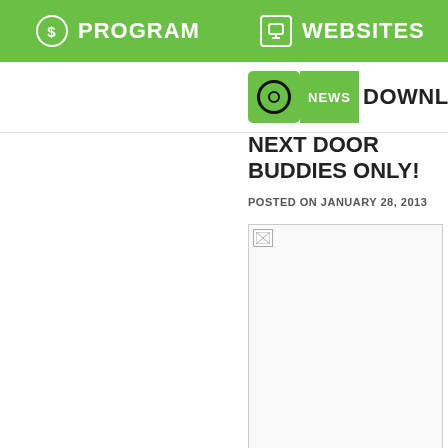PROGRAM  WEBSITES
[Figure (logo): Navigation bar with green logo icon and NEWS / DOWNLOAD labels]
NEXT DOOR BUDDIES ONLY!
POSTED ON JANUARY 28, 2013
[Figure (photo): Image placeholder (broken image icon) in a white bordered rectangle]